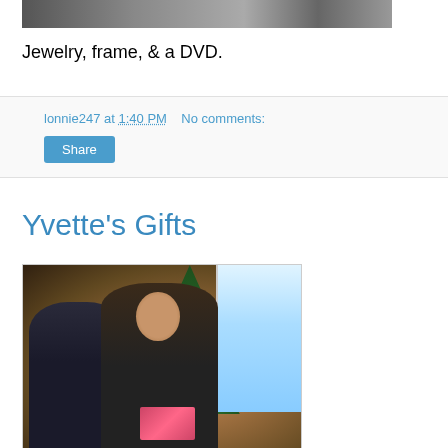[Figure (photo): Partial photo visible at top of page showing people with Christmas gifts]
Jewelry, frame, & a DVD.
lonnie247 at 1:40 PM   No comments:
Share
Yvette's Gifts
[Figure (photo): Photo of a young woman smiling and holding a gift box, with a decorated Christmas tree and another person visible in the background]